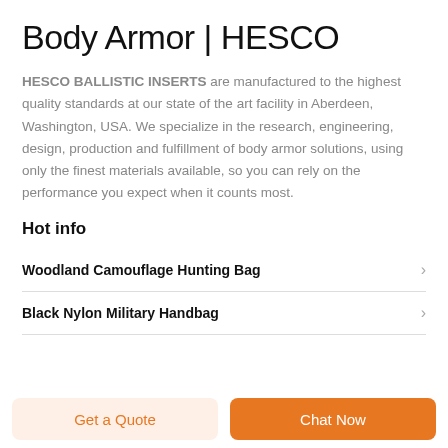Body Armor | HESCO
HESCO BALLISTIC INSERTS are manufactured to the highest quality standards at our state of the art facility in Aberdeen, Washington, USA. We specialize in the research, engineering, design, production and fulfillment of body armor solutions, using only the finest materials available, so you can rely on the performance you expect when it counts most.
Hot info
Woodland Camouflage Hunting Bag
Black Nylon Military Handbag